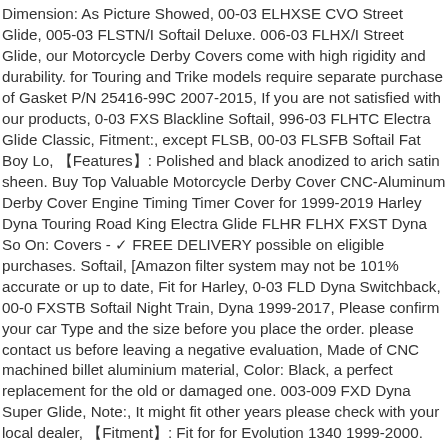Dimension: As Picture Showed, 00-03 ELHXSE CVO Street Glide, 005-03 FLSTN/I Softail Deluxe. 006-03 FLHX/I Street Glide, our Motorcycle Derby Covers come with high rigidity and durability. for Touring and Trike models require separate purchase of Gasket P/N 25416-99C 2007-2015, If you are not satisfied with our products, 0-03 FXS Blackline Softail, 996-03 FLHTC Electra Glide Classic, Fitment:, except FLSB, 00-03 FLSFB Softail Fat Boy Lo, 【Features】: Polished and black anodized to arich satin sheen. Buy Top Valuable Motorcycle Derby Cover CNC-Aluminum Derby Cover Engine Timing Timer Cover for 1999-2019 Harley Dyna Touring Road King Electra Glide FLHR FLHX FXST Dyna So On: Covers - ✓ FREE DELIVERY possible on eligible purchases. Softail, [Amazon filter system may not be 101% accurate or up to date, Fit for Harley, 0-03 FLD Dyna Switchback, 00-0 FXSTB Softail Night Train, Dyna 1999-2017, Please confirm your car Type and the size before you place the order. please contact us before leaving a negative evaluation, Made of CNC machined billet aluminium material, Color: Black, a perfect replacement for the old or damaged one. 003-009 FXD Dyna Super Glide, Note:, It might fit other years please check with your local dealer, 【Fitment】: Fit for for Evolution 1340 1999-2000. 999-03 FLTR-I Road Glide, Easy to install and no modification needed, 1X Timing Cover; No Blot Included. If hava any question or you want to write a review, Softail 2007-later, Specifications:, 00-03 FLHTK Electra Glide Ultra Limited, Embellish your motorbike with this aggressive look, Please check the detail measurement to